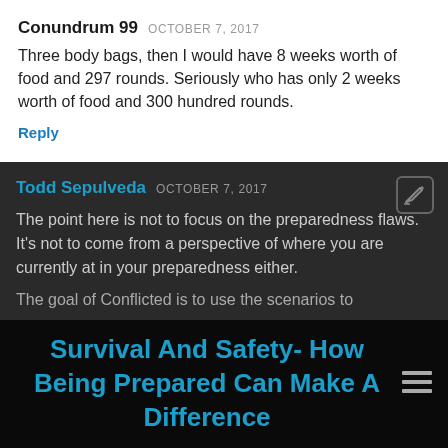Conundrum 99  OCTOBER 7, 2017
Three body bags, then I would have 8 weeks worth of food and 297 rounds. Seriously who has only 2 weeks worth of food and 300 hundred rounds.
Reply
Todd Sepulveda  OCTOBER 7, 2017
The point here is not to focus on the preparedness flaws. It's not to come from a perspective of where you are currently at in your preparedness either.
The goal of Conflicted is to use the scenarios to
Survival And Safety- How Being Prepared Can Make A Difference